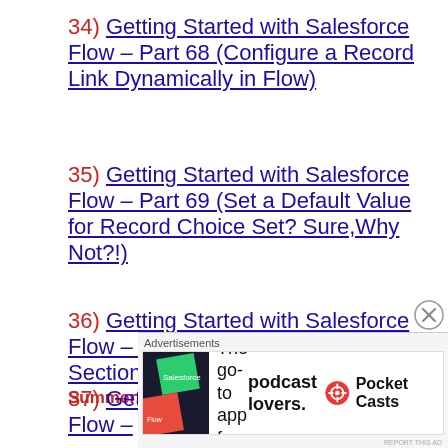34) Getting Started with Salesforce Flow – Part 68 (Configure a Record Link Dynamically in Flow)
35) Getting Started with Salesforce Flow – Part 69 (Set a Default Value for Record Choice Set? Sure,Why Not?!)
36) Getting Started with Salesforce Flow – Part 139 (Collapsible Sections in Screen Flow) Summer22
37) Getting Started with Salesforce Flow –
[Figure (infographic): Advertisement banner: Pocket Casts app advertisement with logo image on left, text 'The go-to app for podcast lovers.' in center, and Pocket Casts branding on right]